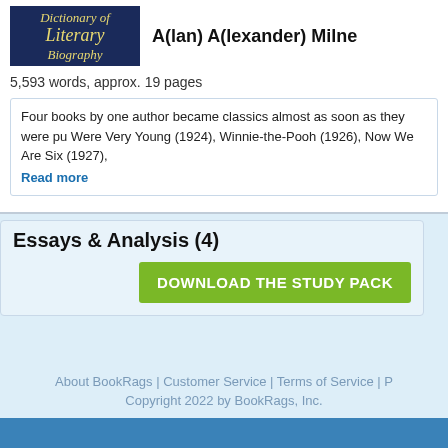[Figure (logo): Dictionary of Literary Biography logo - dark blue background with gold italic text]
A(lan) A(lexander) Milne
5,593 words, approx. 19 pages
Four books by one author became classics almost as soon as they were pu... Were Very Young (1924), Winnie-the-Pooh (1926), Now We Are Six (1927),
Read more
Essays & Analysis (4)
DOWNLOAD THE STUDY PACK
About BookRags | Customer Service | Terms of Service | P... Copyright 2022 by BookRags, Inc.